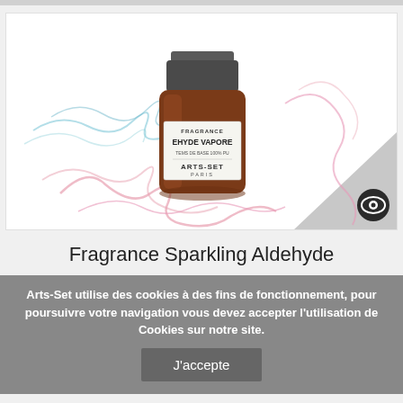[Figure (photo): Product photo of a small amber glass bottle with a dark grey screw cap. The label reads FRAGRANCE, EHYDE VAPORE, TEMS DE BASE 100% PU, ARTS-SET PARIS. Background has decorative smoke wisps in pink and blue/teal colors. A small circular logo icon is in the bottom right corner of the image frame.]
Fragrance Sparkling Aldehyde
Arts-Set utilise des cookies à des fins de fonctionnement, pour poursuivre votre navigation vous devez accepter l'utilisation de Cookies sur notre site.
J'accepte